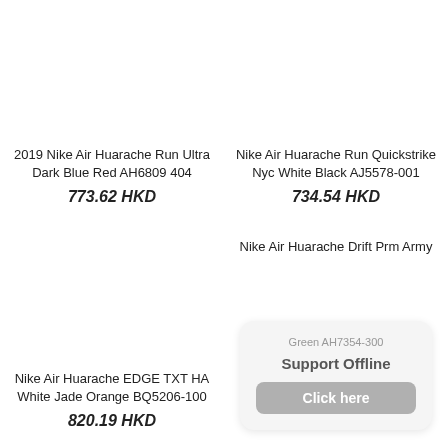2019 Nike Air Huarache Run Ultra Dark Blue Red AH6809 404
773.62 HKD
Nike Air Huarache Run Quickstrike Nyc White Black AJ5578-001
734.54 HKD
Nike Air Huarache EDGE TXT HA White Jade Orange BQ5206-100
820.19 HKD
Nike Air Huarache Drift Prm Army Green AH7354-300
Support Offline
Click here